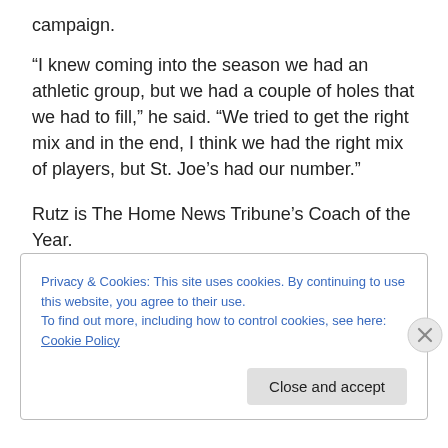campaign.
“I knew coming into the season we had an athletic group, but we had a couple of holes that we had to fill,” he said. “We tried to get the right mix and in the end, I think we had the right mix of players, but St. Joe’s had our number.”
Rutz is The Home News Tribune’s Coach of the Year.
In winning the GMCT, East Brunswick toppled St. Joseph, who accounted for three of the Bears’ four losses this season, in a dominant 2-0 decision.
Privacy & Cookies: This site uses cookies. By continuing to use this website, you agree to their use.
To find out more, including how to control cookies, see here: Cookie Policy